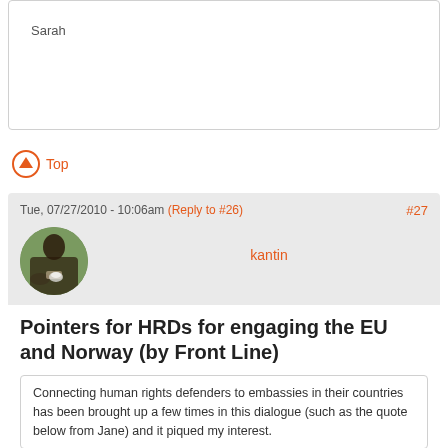Sarah
Top
Tue, 07/27/2010 - 10:06am (Reply to #26) #27
kantin
Pointers for HRDs for engaging the EU and Norway (by Front Line)
Connecting human rights defenders to embassies in their countries has been brought up a few times in this dialogue (such as the quote below from Jane) and it piqued my interest.